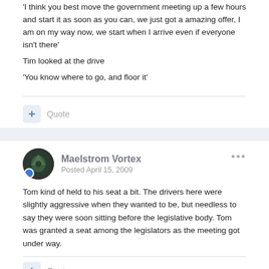'I think you best move the government meeting up a few hours and start it as soon as you can, we just got a amazing offer, I am on my way now, we start when I arrive even if everyone isn't there'
Tim looked at the drive
'You know where to go, and floor it'
Quote
Maelstrom Vortex
Posted April 15, 2009
Tom kind of held to his seat a bit. The drivers here were slightly aggressive when they wanted to be, but needless to say they were soon sitting before the legislative body. Tom was granted a seat among the legislators as the meeting got under way.
Quote